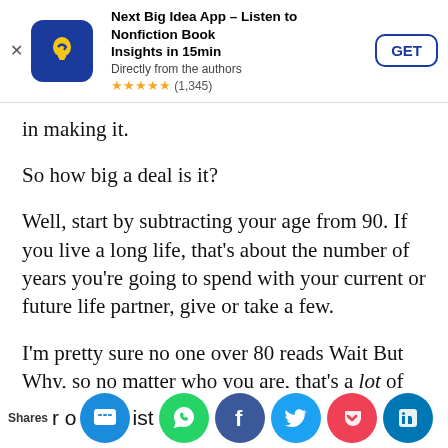[Figure (screenshot): App advertisement banner for 'Next Big Idea App – Listen to Nonfiction Book Insights in 15min'. Shows app icon (blue with yellow lightbulb), title, subtitle 'Directly from the authors', 5-star rating (1,345 reviews), and GET button.]
in making it.
So how big a deal is it?
Well, start by subtracting your age from 90. If you live a long life, that's about the number of years you're going to spend with your current or future life partner, give or take a few.
I'm pretty sure no one over 80 reads Wait But Why, so no matter who you are, that's a lot of time—and almost the entirety of the rest of
[Figure (screenshot): Social share bar at bottom with icons for SMS/message, WhatsApp, Facebook, Twitter, Pocket, and LinkedIn, plus 'Shares' label and partial text 'r o ... ist'.]